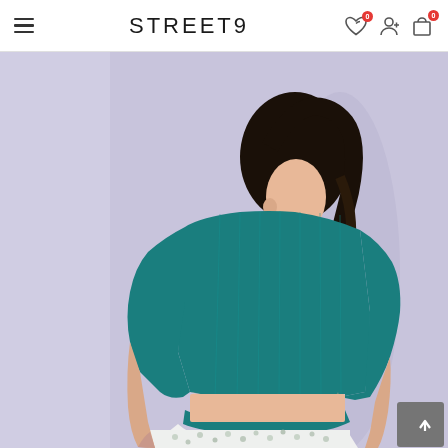STREET9 — navigation bar with hamburger menu, wishlist, account, and cart icons
[Figure (photo): Back view of a female model wearing a teal/peacock blue ribbed crop top with cutout back detail and a white floral midi skirt, posed against a lavender/light purple background.]